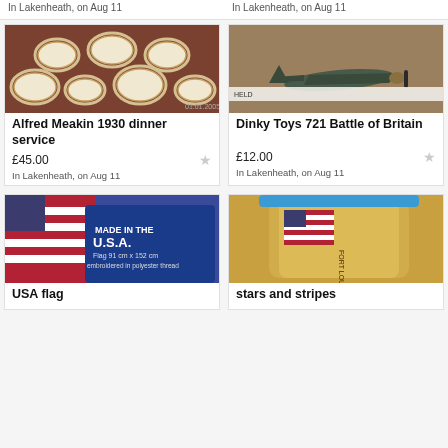In Lakenheath, on Aug 11
In Lakenheath, on Aug 11
[Figure (photo): Photo of Alfred Meakin 1930 dinner service plates arranged on a dark red surface]
[Figure (photo): Photo of Dinky Toys 721 Battle of Britain model airplane on wooden surface with ruler]
Alfred Meakin 1930 dinner service
Dinky Toys 721 Battle of Britain
£45.00
£12.00
In Lakenheath, on Aug 11
In Lakenheath, on Aug 11
[Figure (photo): Photo of USA flag in packaging showing 'MADE IN THE U.S.A. Flag 91 cm x 152 cm embroidered in polyester thread']
[Figure (photo): Photo of stars and stripes memorabilia glass/jar with American flag motif]
USA flag
stars and stripes